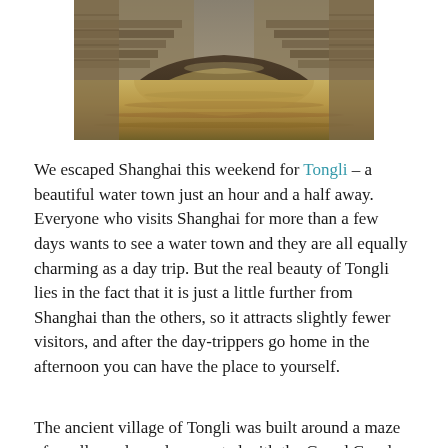[Figure (photo): Photograph of a stone arch bridge over muddy brown water in Tongli water town, viewed from beneath or near water level, showing the underside of the arch and stone steps/walls]
We escaped Shanghai this weekend for Tongli – a beautiful water town just an hour and a half away. Everyone who visits Shanghai for more than a few days wants to see a water town and they are all equally charming as a day trip. But the real beauty of Tongli lies in the fact that it is just a little further from Shanghai than the others, so it attracts slightly fewer visitors, and after the day-trippers go home in the afternoon you can have the place to yourself.
The ancient village of Tongli was built around a maze of small canals, and connected with the Grand Canal linking Hangzhou and Beijing. Everyday life centres around the canals now just as it did then, with clothes being washed, fish being caught and ducks being plucked and